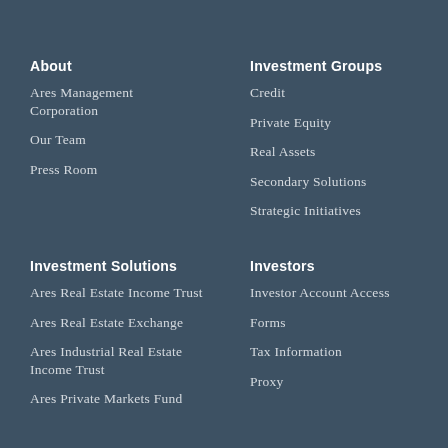About
Ares Management Corporation
Our Team
Press Room
Investment Groups
Credit
Private Equity
Real Assets
Secondary Solutions
Strategic Initiatives
Investment Solutions
Ares Real Estate Income Trust
Ares Real Estate Exchange
Ares Industrial Real Estate Income Trust
Ares Private Markets Fund
Investors
Investor Account Access
Forms
Tax Information
Proxy